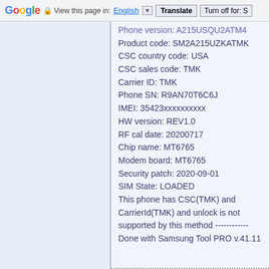Google  View this page in: English ▼  Translate  Turn off for: S
Phone version: A215USQU2ATM4
Product code: SM2A215UZKATMK
CSC country code: USA
CSC sales code: TMK
Carrier ID: TMK
Phone SN: R9AN70T6C6J
IMEI: 35423xxxxxxxxxx
HW version: REV1.0
RF cal date: 20200717
Chip name: MT6765
Modem board: MT6765
Security patch: 2020-09-01
SIM State: LOADED
This phone has CSC(TMK) and CarrierId(TMK) and unlock is not supported by this method ------------
Done with Samsung Tool PRO v.41.11